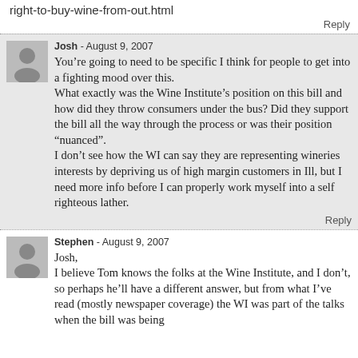right-to-buy-wine-from-out.html
Reply
Josh - August 9, 2007
You’re going to need to be specific I think for people to get into a fighting mood over this.
What exactly was the Wine Institute’s position on this bill and how did they throw consumers under the bus? Did they support the bill all the way through the process or was their position “nuanced”.
I don’t see how the WI can say they are representing wineries interests by depriving us of high margin customers in Ill, but I need more info before I can properly work myself into a self righteous lather.
Reply
Stephen - August 9, 2007
Josh,
I believe Tom knows the folks at the Wine Institute, and I don’t, so perhaps he’ll have a different answer, but from what I’ve read (mostly newspaper coverage) the WI was part of the talks when the bill was being